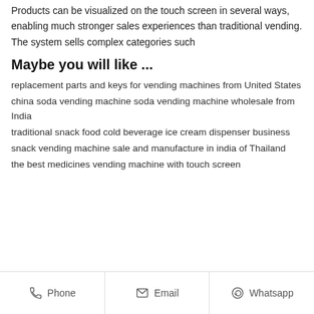Products can be visualized on the touch screen in several ways, enabling much stronger sales experiences than traditional vending. The system sells complex categories such
Maybe you will like ...
replacement parts and keys for vending machines from United States
china soda vending machine soda vending machine wholesale from India
traditional snack food cold beverage ice cream dispenser business
snack vending machine sale and manufacture in india of Thailand
the best medicines vending machine with touch screen
Phone   Email   Whatsapp